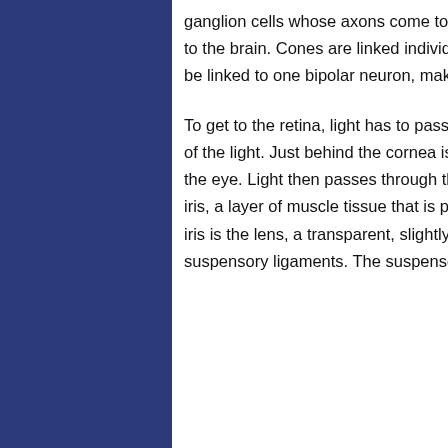ganglion cells whose axons come together to form the optic nerve which transmits the signal to the brain. Cones are linked individually to bipolar neurons, whereas several rod cells may be linked to one bipolar neuron, making the rod cells more sensitive to low levels of light.
To get to the retina, light has to pass through the cornea, which does most of the refracting of the light. Just behind the cornea is the aqueous humor which helps regulate pressure in the eye. Light then passes through the pupil, an opening whose diameter is controlled by the iris, a layer of muscle tissue that is part of the anterior choroid layer. Sitting just behind the iris is the lens, a transparent, slightly flexible biconvex disc of protein fibers, held in place by suspensory ligaments. The suspensory ligaments are connected to the ciliary body of